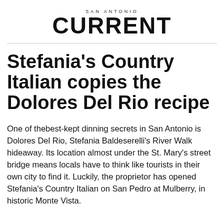SAN ANTONIO CURRENT
Stefania's Country Italian copies the Dolores Del Rio recipe
One of thebest-kept dinning secrets in San Antonio is Dolores Del Rio, Stefania Baldeserelli's River Walk hideaway. Its location almost under the St. Mary's street bridge means locals have to think like tourists in their own city to find it. Luckily, the proprietor has opened Stefania's Country Italian on San Pedro at Mulberry, in historic Monte Vista.